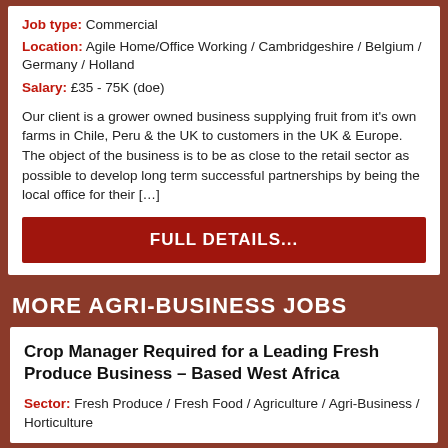Job type: Commercial
Location: Agile Home/Office Working / Cambridgeshire / Belgium / Germany / Holland
Salary: £35 - 75K (doe)
Our client is a grower owned business supplying fruit from it's own farms in Chile, Peru & the UK to customers in the UK & Europe. The object of the business is to be as close to the retail sector as possible to develop long term successful partnerships by being the local office for their […]
FULL DETAILS...
MORE AGRI-BUSINESS JOBS
Crop Manager Required for a Leading Fresh Produce Business – Based West Africa
Sector: Fresh Produce / Fresh Food / Agriculture / Agri-Business / Horticulture